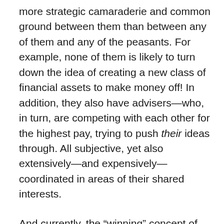more strategic camaraderie and common ground between them than between any of them and any of the peasants. For example, none of them is likely to turn down the idea of creating a new class of financial assets to make money off! In addition, they also have advisers—who, in turn, are competing with each other for the highest pay, trying to push their ideas through. All subjective, yet also extensively—and expensively—coordinated in areas of their shared interests.
And currently, the “winning” concept of the day seems to be a world filled with abbreviations: AI, 5G, IoT, and so on. A world where the money is digital, the food is lab-grown, where everything is counted and controlled by giant monopolies, and the people are largely deprived of free will. A world where each element of nature and each living